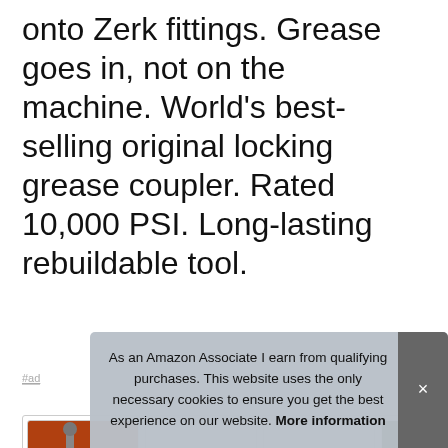onto Zerk fittings. Grease goes in, not on the machine. World's best-selling original locking grease coupler. Rated 10,000 PSI. Long-lasting rebuildable tool.
#ad
[Figure (photo): Row of four product thumbnail images showing grease couplers and grease gun tools. First image has 'UPGRADE YOUR GRE...' text overlay in yellow on a red/orange background.]
Loc...
on, ...
npt compatible with all grease guns – battery, pneumatic
As an Amazon Associate I earn from qualifying purchases. This website uses the only necessary cookies to ensure you get the best experience on our website. More information